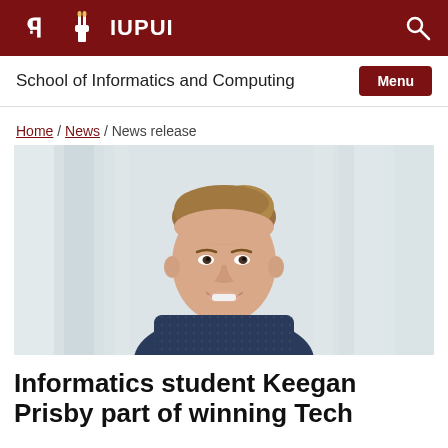IU IUPUI
School of Informatics and Computing
Home / News / News release
[Figure (photo): Professional headshot of a young man with light brown hair, smiling, wearing a dark patterned jacket, with blurred background columns]
Informatics student Keegan Prisby part of winning Tech